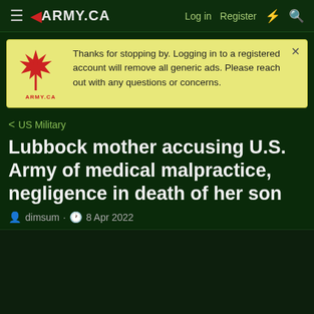≡ ◄ARMY.CA   Log in  Register  ⚡  🔍
Thanks for stopping by. Logging in to a registered account will remove all generic ads. Please reach out with any questions or concerns.
< US Military
Lubbock mother accusing U.S. Army of medical malpractice, negligence in death of her son
dimsum · 8 Apr 2022
dimsum
This site uses cookies to help personalise content, tailor your experience and to keep you logged in if you register.
By continuing to use this site, you are consenting to our use of cookies.